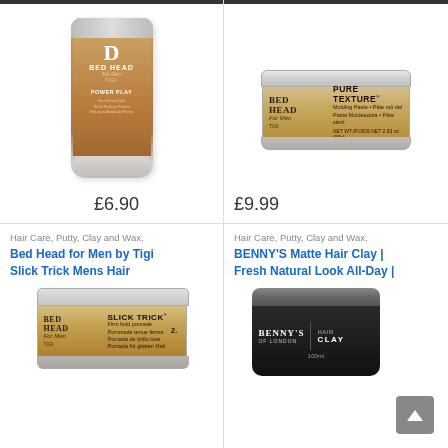[Figure (photo): TIGI Bed Head for Men Power Play hair product tube]
£6.90
[Figure (photo): TIGI Bed Head for Men Pure Texture Molding Paste tin]
£9.99
Hair Care, Putty, Clay and Wax,
Bed Head for Men by Tigi Slick Trick Mens Hair
[Figure (photo): TIGI Bed Head for Men Slick Trick Firm Hold Pomade tin]
Hair Care, Putty, Clay and Wax,
BENNY'S Matte Hair Clay | Fresh Natural Look All-Day |
[Figure (photo): Benny's of London Hair Clay 100ml black jar]